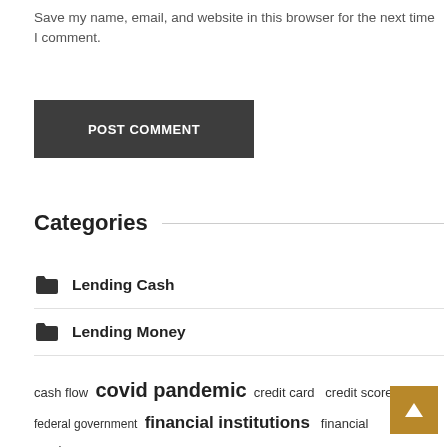Save my name, email, and website in this browser for the next time I comment.
POST COMMENT
Categories
Lending Cash
Lending Money
Loan Online
Money Online
Ongoing Loan
cash flow  covid pandemic  credit card  credit score  federal government  financial institutions  financial services